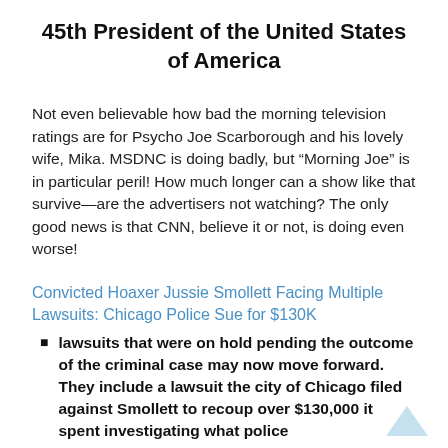45th President of the United States of America
Not even believable how bad the morning television ratings are for Psycho Joe Scarborough and his lovely wife, Mika. MSDNC is doing badly, but “Morning Joe” is in particular peril! How much longer can a show like that survive—are the advertisers not watching? The only good news is that CNN, believe it or not, is doing even worse!
Convicted Hoaxer Jussie Smollett Facing Multiple Lawsuits: Chicago Police Sue for $130K
lawsuits that were on hold pending the outcome of the criminal case may now move forward. They include a lawsuit the city of Chicago filed against Smollett to recoup over $130,000 it spent investigating what police